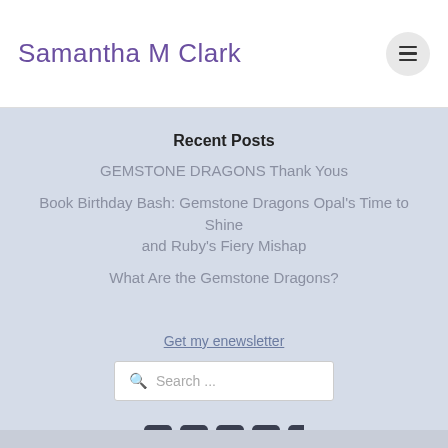Samantha M Clark
Recent Posts
GEMSTONE DRAGONS Thank Yous
Book Birthday Bash: Gemstone Dragons Opal's Time to Shine and Ruby's Fiery Mishap
What Are the Gemstone Dragons?
Get my enewsletter
Search ...